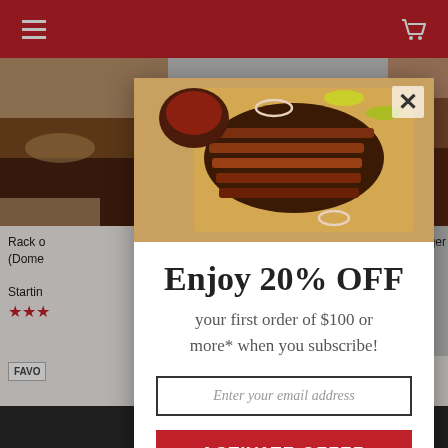[Figure (screenshot): E-commerce website background showing product cards with meat/BBQ items, red header bar with hamburger menu and cart icon, and dark bottom bar. A modal popup overlay is displayed on top.]
[Figure (photo): Food photograph showing sliced BBQ brisket on a wooden cutting board with sauce, onions, and peppers.]
Enjoy 20% OFF
your first order of $100 or more* when you subscribe!
Enter your email address
ACTIVATE OFFER